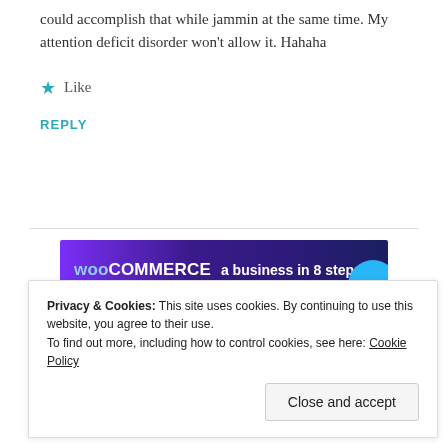could accomplish that while jammin at the same time. My attention deficit disorder won't allow it. Hahaha
★ Like
REPLY
[Figure (screenshot): WooCommerce advertisement banner: 'a business in 8 steps' on dark purple background with teal circle graphic]
REPORT THIS AD
Privacy & Cookies: This site uses cookies. By continuing to use this website, you agree to their use.
To find out more, including how to control cookies, see here: Cookie Policy
Close and accept